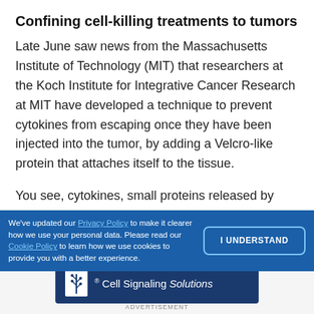Confining cell-killing treatments to tumors
Late June saw news from the Massachusetts Institute of Technology (MIT) that researchers at the Koch Institute for Integrative Cancer Research at MIT have developed a technique to prevent cytokines from escaping once they have been injected into the tumor, by adding a Velcro-like protein that attaches itself to the tissue.
You see, cytokines, small proteins released by immune cells to communicate with each other, have for some
We've updated our Privacy Policy to make it clearer how we use your personal data. Please read our Cookie Policy to learn how we use cookies to provide you with a better experience.
[Figure (logo): Cell Signaling Solutions logo with plant/wheat icon on dark blue background]
ADVERTISEMENT